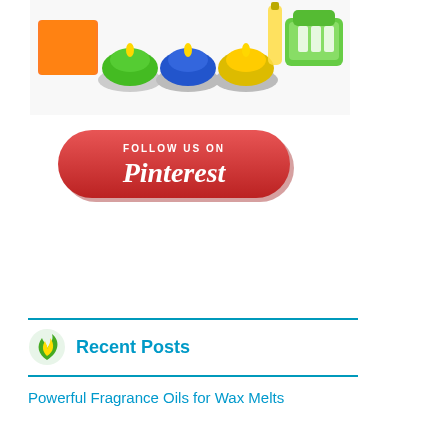[Figure (photo): Colorful scented candles and tealights in orange, green, blue, and yellow colors with a green storage box in the background]
[Figure (other): Red rounded rectangular button with text 'FOLLOW US ON Pinterest' in white, styled as a Pinterest social media follow button]
Recent Posts
Powerful Fragrance Oils for Wax Melts